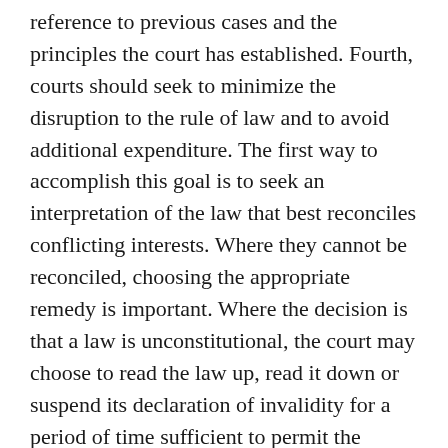reference to previous cases and the principles the court has established. Fourth, courts should seek to minimize the disruption to the rule of law and to avoid additional expenditure. The first way to accomplish this goal is to seek an interpretation of the law that best reconciles conflicting interests. Where they cannot be reconciled, choosing the appropriate remedy is important. Where the decision is that a law is unconstitutional, the court may choose to read the law up, read it down or suspend its declaration of invalidity for a period of time sufficient to permit the legislator to address the problem. Particular care is required with respect to orders that may increase the burden on the public purse. The principle "no taxation without representation" suggests only elected representatives should be able to impose new financial demands and